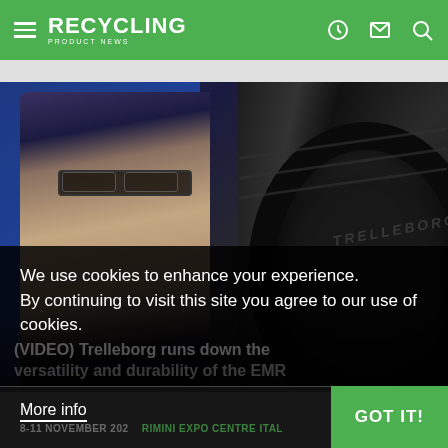RECYCLING PRODUCT NEWS
[Figure (photo): Man with glasses and beard standing in front of a large tire at what appears to be an exhibition or trade show. Blue background visible on the left. The tire has text 'TRELLEBORG' embossed on it.]
We use cookies to enhance your experience. By continuing to visit this site you agree to our use of cookies.
(VIDEO) Trelleborg runs down the versatility and durability of the EMR
8-11 NOVEMBER 202
RIMINI EXPO CENTRE ITAL
More info
GOT IT!